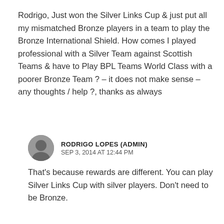Rodrigo, Just won the Silver Links Cup & just put all my mismatched Bronze players in a team to play the Bronze International Shield. How comes I played professional with a Silver Team against Scottish Teams & have to Play BPL Teams World Class with a poorer Bronze Team ? – it does not make sense – any thoughts / help ?, thanks as always
RODRIGO LOPES (ADMIN)
SEP 3, 2014 AT 12:44 PM
That's because rewards are different. You can play Silver Links Cup with silver players. Don't need to be Bronze.